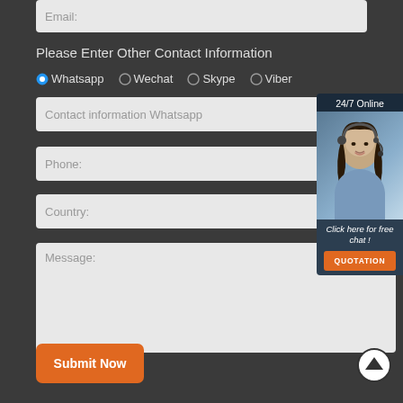Email:
Please Enter Other Contact Information
Whatsapp  Wechat  Skype  Viber
Contact information Whatsapp
Phone:
Country:
Message:
[Figure (screenshot): 24/7 Online chat widget with customer service representative photo and QUOTATION button]
Submit Now